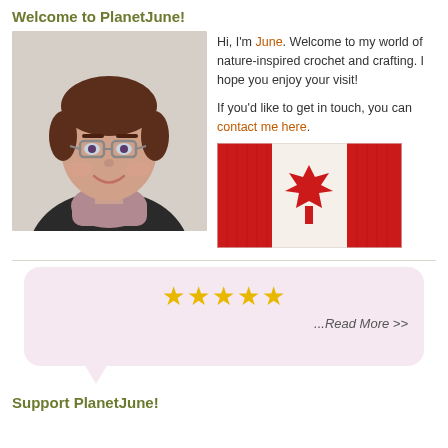Welcome to PlanetJune!
[Figure (photo): Portrait photo of June, a woman with short brown hair wearing glasses and a knit scarf]
Hi, I'm June. Welcome to my world of nature-inspired crochet and crafting. I hope you enjoy your visit!
If you'd like to get in touch, you can contact me here.
[Figure (photo): Crocheted Canadian flag with red maple leaf on white background flanked by red panels]
[Figure (other): Five gold star rating inside a pink speech bubble with ...Read More >> text]
Support PlanetJune!